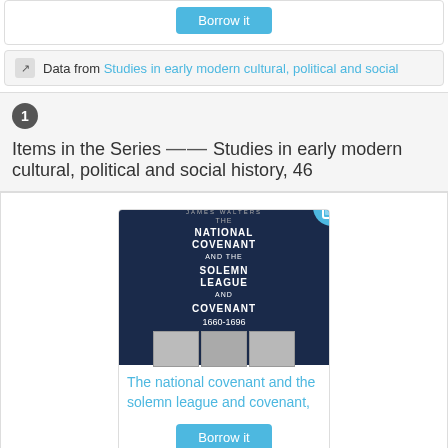[Figure (screenshot): Borrow it button at top of page]
Data from Studies in early modern cultural, political and social
1 Items in the Series ||| Studies in early modern cultural, political and social history, 46
[Figure (illustration): Book cover: The National Covenant and the Solemn League and Covenant 1660-1696 with tablet/ebook badge]
The national covenant and the solemn league and covenant,
[Figure (screenshot): Borrow it button below book listing]